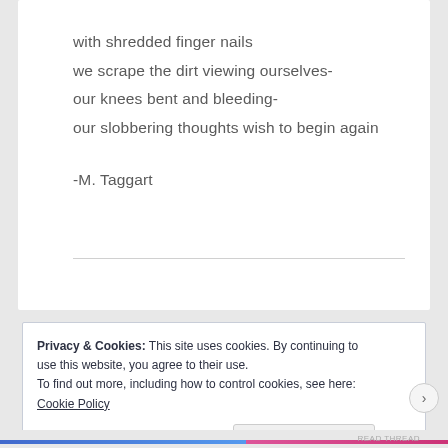with shredded finger nails
we scrape the dirt viewing ourselves-
our knees bent and bleeding-
our slobbering thoughts wish to begin again

-M. Taggart
Privacy & Cookies: This site uses cookies. By continuing to use this website, you agree to their use.
To find out more, including how to control cookies, see here: Cookie Policy
Close and accept